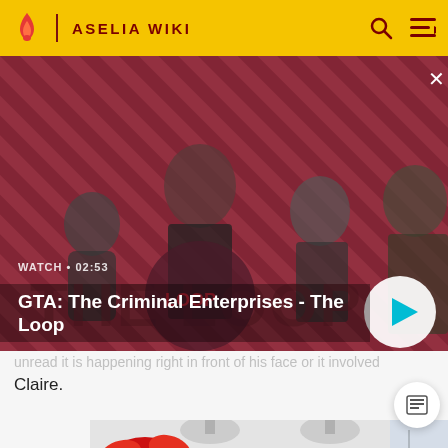ASELIA WIKI
[Figure (screenshot): GTA: The Criminal Enterprises - The Loop video thumbnail with characters on a diagonal striped red/dark background. Shows WATCH • 02:53 label and a play button.]
GTA: The Criminal Enterprises - The Loop
...unread it is happening right in front of his face or it involved Claire.
[Figure (photo): Bottom portion of an image showing a red ribbon/bow gift decoration with a white/grey interior room background.]